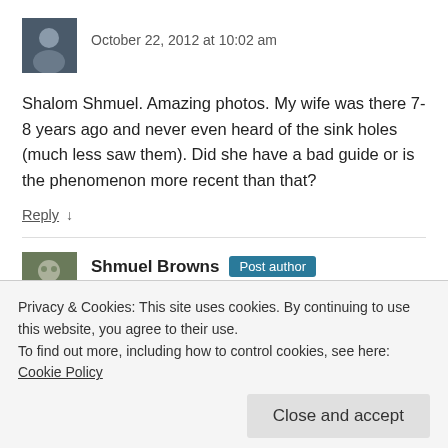[Figure (photo): Small square avatar photo of a person in a dark top]
October 22, 2012 at 10:02 am
Shalom Shmuel. Amazing photos. My wife was there 7-8 years ago and never even heard of the sink holes (much less saw them). Did she have a bad guide or is the phenomenon more recent than that?
Reply ↓
[Figure (photo): Small square avatar photo of Shmuel Browns]
Shmuel Browns Post author
October 22, 2012 at 11:41 am
Privacy & Cookies: This site uses cookies. By continuing to use this website, you agree to their use.
To find out more, including how to control cookies, see here: Cookie Policy
Close and accept
Ein Gedi, when he lead a tour for a group of guides. Raz had